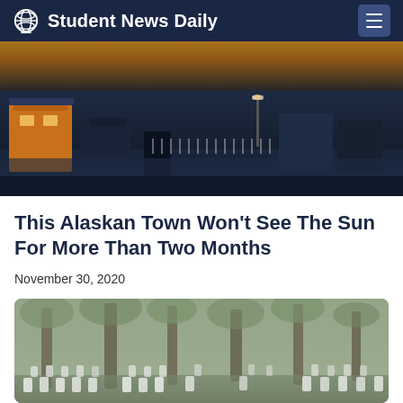Student News Daily
[Figure (photo): Aerial night/dusk view of a snow-covered Alaskan town with buildings and streets lit by warm yellow lights against a dark blue sky.]
This Alaskan Town Won't See The Sun For More Than Two Months
November 30, 2020
[Figure (photo): A foggy cemetery with rows of white headstones and tall trees in the background.]